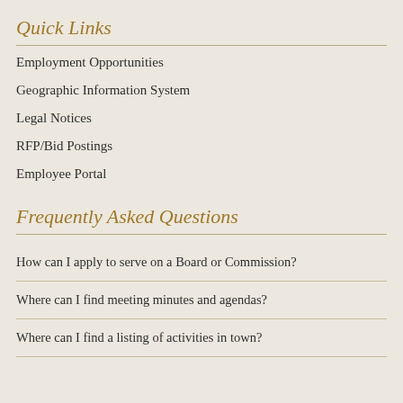Quick Links
Employment Opportunities
Geographic Information System
Legal Notices
RFP/Bid Postings
Employee Portal
Frequently Asked Questions
How can I apply to serve on a Board or Commission?
Where can I find meeting minutes and agendas?
Where can I find a listing of activities in town?